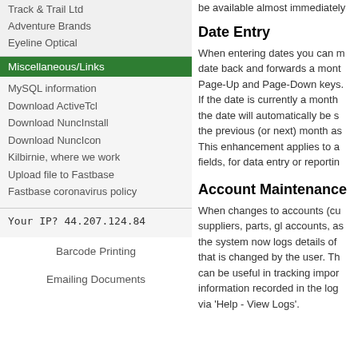Track & Trail Ltd
Adventure Brands
Eyeline Optical
Miscellaneous/Links
MySQL information
Download ActiveTcl
Download NuncInstall
Download NuncIcon
Kilbirnie, where we work
Upload file to Fastbase
Fastbase coronavirus policy
Your IP? 44.207.124.84
Barcode Printing
Emailing Documents
be available almost immediately
Date Entry
When entering dates you can move the date back and forwards a month at a time using the Page-Up and Page-Down keys. If the date is currently a month boundary, the date will automatically be set to the last day of the previous (or next) month as appropriate. This enhancement applies to all date fields, for data entry or reporting.
Account Maintenance
When changes to accounts (customers, suppliers, parts, gl accounts, assets etc.) the system now logs details of every field that is changed by the user. This audit trail can be useful in tracking important changes, information recorded in the log is accessible via 'Help - View Logs'.